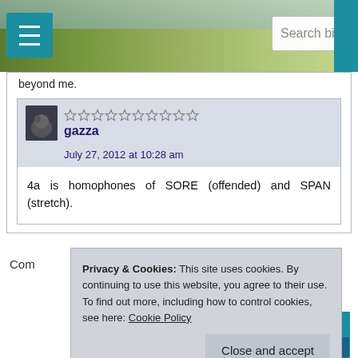Search bigdave44.co
beyond me.
gazza
July 27, 2012 at 10:28 am
4a is homophones of SORE (offended) and SPAN (stretch).
Com
Privacy & Cookies: This site uses cookies. By continuing to use this website, you agree to their use.
To find out more, including how to control cookies, see here: Cookie Policy
| M | T | W | T | F | S | S |
| --- | --- | --- | --- | --- | --- | --- |
|  |  |  |  |  |  | 1 |